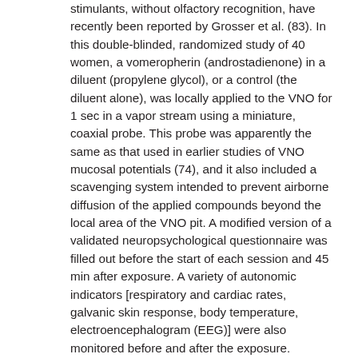stimulants, without olfactory recognition, have recently been reported by Grosser et al. (83). In this double-blinded, randomized study of 40 women, a vomeropherin (androstadienone) in a diluent (propylene glycol), or a control (the diluent alone), was locally applied to the VNO for 1 sec in a vapor stream using a miniature, coaxial probe. This probe was apparently the same as that used in earlier studies of VNO mucosal potentials (74), and it also included a scavenging system intended to prevent airborne diffusion of the applied compounds beyond the local area of the VNO pit. A modified version of a validated neuropsychological questionnaire was filled out before the start of each session and 45 min after exposure. A variety of autonomic indicators [respiratory and cardiac rates, galvanic skin response, body temperature, electroencephalogram (EEG)] were also monitored before and after the exposure. Statistically significant reductions (p < 0.001) in indices of overall negativity, negative affect, and negative character were reported for the experimental group. At 35 min postexposure, significant changes in autonomic measures were noted, including decrements in respiratory and cardiac rates and galvanic skin response, and an increase in alpha-wave component of the EEG; these differences became